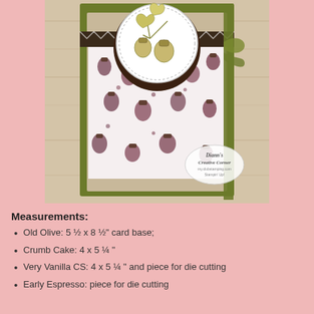[Figure (photo): A handmade greeting card with an autumn/fall theme featuring acorns and oak leaves stamped on a white oval, placed on a dark brown circle, over patterned paper with scattered acorns, all mounted on an olive green card base with a ribbon accent. Watermark reads Diann's Creative Corner.]
Measurements:
Old Olive: 5 ½ x 8 ½" card base;
Crumb Cake: 4 x 5 ¼ "
Very Vanilla CS: 4 x 5 ¼ " and piece for die cutting
Early Espresso: piece for die cutting